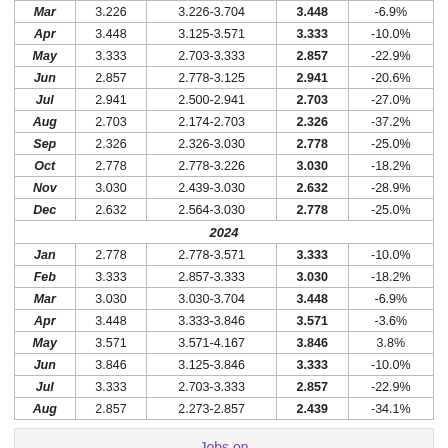| Month | Open | Range | Close | Change |
| --- | --- | --- | --- | --- |
| Mar | 3.226 | 3.226-3.704 | 3.448 | -6.9% |
| Apr | 3.448 | 3.125-3.571 | 3.333 | -10.0% |
| May | 3.333 | 2.703-3.333 | 2.857 | -22.9% |
| Jun | 2.857 | 2.778-3.125 | 2.941 | -20.6% |
| Jul | 2.941 | 2.500-2.941 | 2.703 | -27.0% |
| Aug | 2.703 | 2.174-2.703 | 2.326 | -37.2% |
| Sep | 2.326 | 2.326-3.030 | 2.778 | -25.0% |
| Oct | 2.778 | 2.778-3.226 | 3.030 | -18.2% |
| Nov | 3.030 | 2.439-3.030 | 2.632 | -28.9% |
| Dec | 2.632 | 2.564-3.030 | 2.778 | -25.0% |
| 2024 |
| Jan | 2.778 | 2.778-3.571 | 3.333 | -10.0% |
| Feb | 3.333 | 2.857-3.333 | 3.030 | -18.2% |
| Mar | 3.030 | 3.030-3.704 | 3.448 | -6.9% |
| Apr | 3.448 | 3.333-3.846 | 3.571 | -3.6% |
| May | 3.571 | 3.571-4.167 | 3.846 | 3.8% |
| Jun | 3.846 | 3.125-3.846 | 3.333 | -10.0% |
| Jul | 3.333 | 2.703-3.333 | 2.857 | -22.9% |
| Aug | 2.857 | 2.273-2.857 | 2.439 | -34.1% |
[Figure (logo): Jobs on Monster logo with purple and teal coloring]